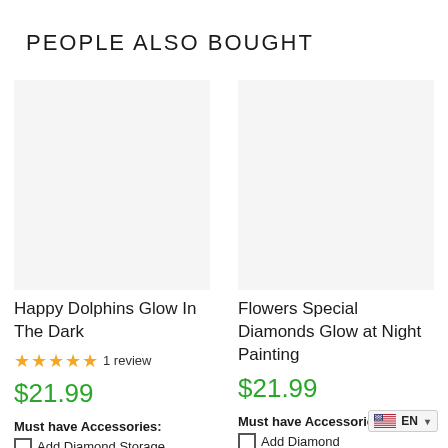PEOPLE ALSO BOUGHT
[Figure (photo): Product image placeholder for Happy Dolphins Glow In The Dark (blank/white area)]
Happy Dolphins Glow In The Dark
1 review
$21.99
Must have Accessories:
Add Diamond Storage
[Figure (photo): Product image placeholder for Flowers Special Diamonds Glow at Night Painting (blank/white area)]
Flowers Special Diamonds Glow at Night Painting
$21.99
Must have Accessories:
Add Diamond